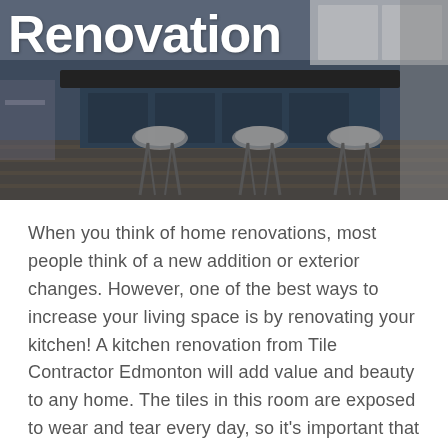[Figure (photo): Kitchen interior with dark island countertop and three stools with metallic legs on hardwood floor]
Renovation
When you think of home renovations, most people think of a new addition or exterior changes. However, one of the best ways to increase your living space is by renovating your kitchen! A kitchen renovation from Tile Contractor Edmonton will add value and beauty to any home. The tiles in this room are exposed to wear and tear every day, so it's important that they be durable enough for everyday use. There are many different styles and colors available at Tile Contractor Edmonton when you're looking for kitchen tiles!